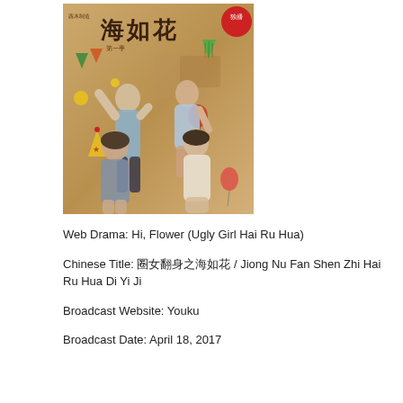[Figure (photo): Poster for the Chinese web drama Hi, Flower (Ugly Girl Hai Ru Hua), showing four young actors posing on a cardboard-themed background with party decorations. Chinese title text at top, red exclusive badge in top-right corner.]
Web Drama: Hi, Flower (Ugly Girl Hai Ru Hua)
Chinese Title: 囧女翻身之海如花 / Jiong Nu Fan Shen Zhi Hai Ru Hua Di Yi Ji
Broadcast Website: Youku
Broadcast Date: April 18, 2017